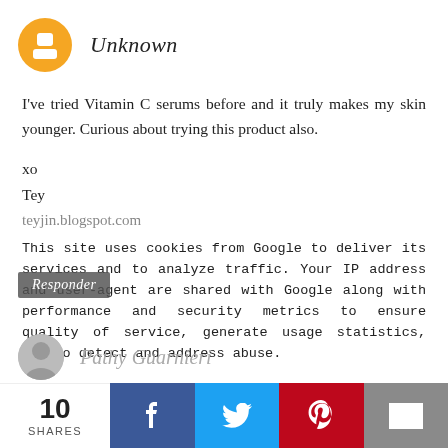Unknown
I've tried Vitamin C serums before and it truly makes my skin younger. Curious about trying this product also.
xo
Tey
teyjin.blogspot.com
This site uses cookies from Google to deliver its services and to analyze traffic. Your IP address and user-agent are shared with Google along with performance and security metrics to ensure quality of service, generate usage statistics, and to detect and address abuse.
Responder
Pathy Guarnieri
10 SHARES